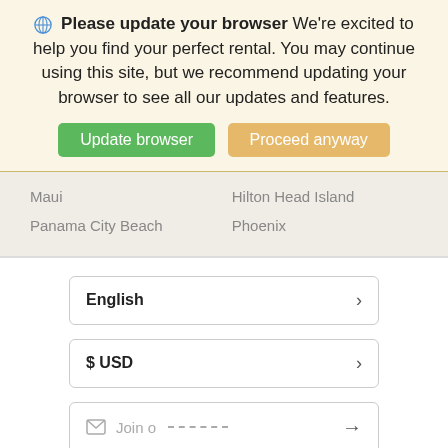Please update your browser We're excited to help you find your perfect rental. You may continue using this site, but we recommend updating your browser to see all our updates and features.
Update browser  Proceed anyway
Maui
Hilton Head Island
Panama City Beach
Phoenix
English >
$ USD >
Join o... →
Map
Log in / Sign up   Careers   Traveler Resources